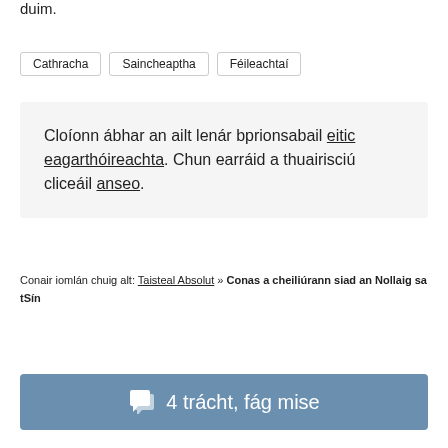duim.
Cathracha
Saincheaptha
Féileachtaí
Cloíonn ábhar an ailt lenár bprionsabail eitic eagarthóireachta. Chun earráid a thuairisciú cliceáil anseo.
Conair iomlán chuig alt: Taisteal Absolut » Conas a cheiliúrann siad an Nollaig sa tSín
4 trácht, fág mise